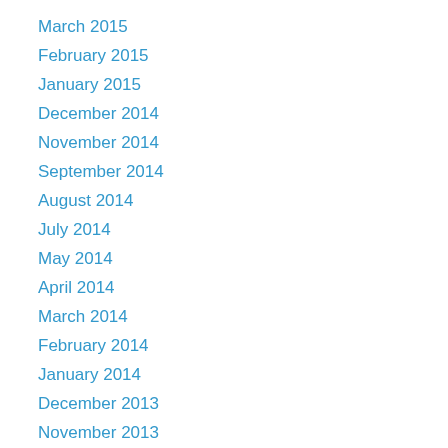March 2015
February 2015
January 2015
December 2014
November 2014
September 2014
August 2014
July 2014
May 2014
April 2014
March 2014
February 2014
January 2014
December 2013
November 2013
October 2013
August 2013
July 2013
June 2013
May 2013